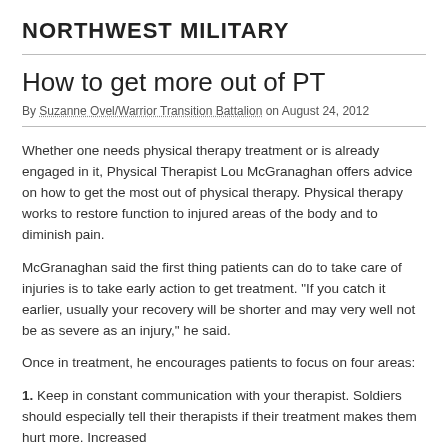NORTHWEST MILITARY
How to get more out of PT
By Suzanne Ovel/Warrior Transition Battalion on August 24, 2012
Whether one needs physical therapy treatment or is already engaged in it, Physical Therapist Lou McGranaghan offers advice on how to get the most out of physical therapy. Physical therapy works to restore function to injured areas of the body and to diminish pain.
McGranaghan said the first thing patients can do to take care of injuries is to take early action to get treatment. "If you catch it earlier, usually your recovery will be shorter and may very well not be as severe as an injury," he said.
Once in treatment, he encourages patients to focus on four areas:
1. Keep in constant communication with your therapist. Soldiers should especially tell their therapists if their treatment makes them hurt more. Increased